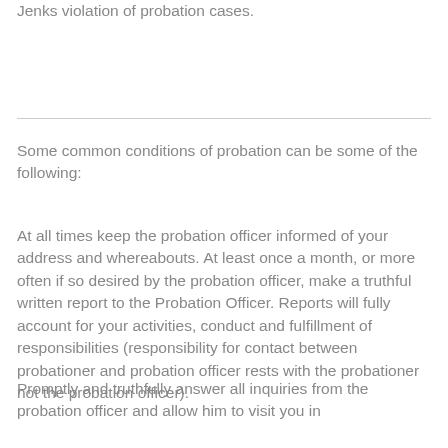Jenks violation of probation cases.
Some common conditions of probation can be some of the following:
At all times keep the probation officer informed of your address and whereabouts. At least once a month, or more often if so desired by the probation officer, make a truthful written report to the Probation Officer. Reports will fully account for your activities, conduct and fulfillment of responsibilities (responsibility for contact between probationer and probation officer rests with the probationer not the probation officer).
Promptly and truthfully answer all inquiries from the probation officer and allow him to visit you in